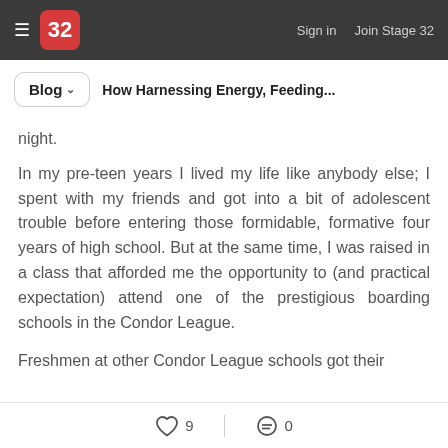≡  32  Sign in  Join Stage 32
Blog  How Harnessing Energy, Feeding...
night.
In my pre-teen years I lived my life like anybody else; I spent with my friends and got into a bit of adolescent trouble before entering those formidable, formative four years of high school. But at the same time, I was raised in a class that afforded me the opportunity to (and practical expectation) attend one of the prestigious boarding schools in the Condor League.
Freshmen at other Condor League schools got their
♡ 9   ≡ 0